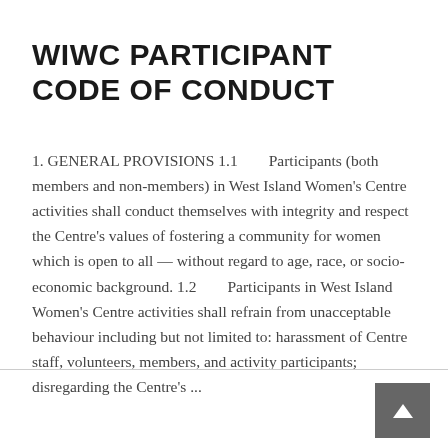WIWC PARTICIPANT CODE OF CONDUCT
1. GENERAL PROVISIONS 1.1        Participants (both members and non-members) in West Island Women's Centre activities shall conduct themselves with integrity and respect the Centre's values of fostering a community for women which is open to all — without regard to age, race, or socio-economic background. 1.2        Participants in West Island Women's Centre activities shall refrain from unacceptable behaviour including but not limited to: harassment of Centre staff, volunteers, members, and activity participants; disregarding the Centre's ...